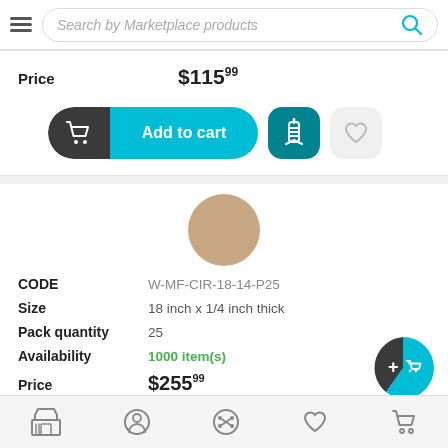Search by Marketplace products
Price $115.99
[Figure (screenshot): Add to cart button with cart icon, teal background, plus a teal icon button and a heart/favorite button]
[Figure (photo): Circular beige/tan product swatch image]
CODE W-MF-CIR-18-14-P25
Size 18 inch x 1/4 inch thick
Pack quantity 25
Availability 1000 item(s)
Price $255.99
Bottom navigation bar with store, profile, shuffle, heart, and cart icons